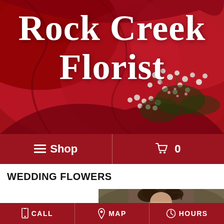Rock Creek Florist
☰ Shop
🛒 0
WEDDING FLOWERS
[Figure (photo): Partially visible photo of a bride in a white dress with dark hair]
📱 CALL   📍 MAP   🕐 HOURS